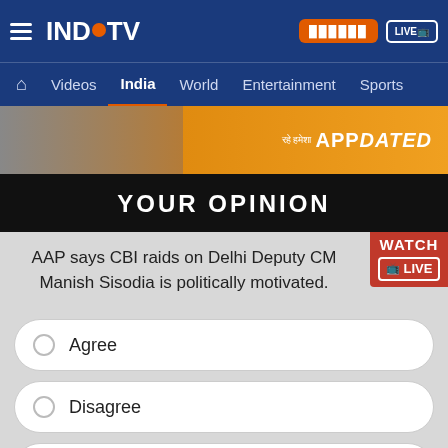INDIA TV — Videos | India | World | Entertainment | Sports
[Figure (screenshot): India TV app promotional banner with phone image and 'APPDATED' text on orange background]
YOUR OPINION
AAP says CBI raids on Delhi Deputy CM Manish Sisodia is politically motivated.
Agree
Disagree
Can't say
5123 Votes